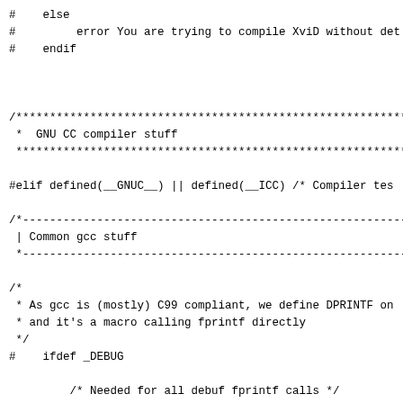#    else
#         error You are trying to compile XviD without det
#    endif



/***********************************************************
 * GNU CC compiler stuff
 ***********************************************************

#elif defined(__GNUC__) || defined(__ICC) /* Compiler tes

/*-----------------------------------------------------------
 | Common gcc stuff
 *-----------------------------------------------------------

/*
 * As gcc is (mostly) C99 compliant, we define DPRINTF on
 * and it's a macro calling fprintf directly
 */
#    ifdef _DEBUG

         /* Needed for all debuf fprintf calls */
#        include <stdio.h>
#        include <stdarg.h>

         static __inline void DPRINTF(int level, char *for
         {
              va list args;